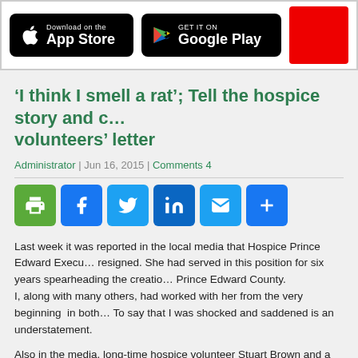[Figure (screenshot): App store download banner with Apple App Store and Google Play buttons, and a red decorative block on the right]
‘I think I smell a rat’; Tell the hospice story and c... volunteers’ letter
Administrator | Jun 16, 2015 | Comments 4
[Figure (infographic): Social share buttons: Print (green), Facebook (blue), Twitter (light blue), LinkedIn (dark blue), Email (light blue), More (blue)]
Last week it was reported in the local media that Hospice Prince Edward Execu... resigned. She had served in this position for six years spearheading the creatio... Prince Edward County.
I, along with many others, had worked with her from the very beginning in both... To say that I was shocked and saddened is an understatement.
Also in the media, long-time hospice volunteer Stuart Brown and a past hospice... stated that it is incumbent on this depleted hospice board to be completely trans... community what has transpired. Mayor Robert Quaiff was quoted as saying tha... on here.
I think I smell a rat...